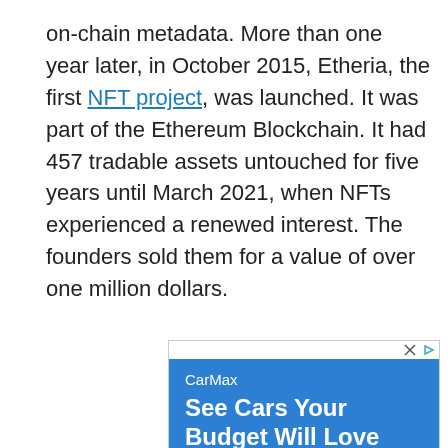on-chain metadata. More than one year later, in October 2015, Etheria, the first NFT project, was launched. It was part of the Ethereum Blockchain. It had 457 tradable assets untouched for five years until March 2021, when NFTs experienced a renewed interest. The founders sold them for a value of over one million dollars.
[Figure (other): CarMax advertisement banner: blue background with CarMax branding, headline 'See Cars Your Budget Will Love', subtext 'Great Selection of Used Cars At Upfront, No-Haggle Prices.' with close and play icons at top right.]